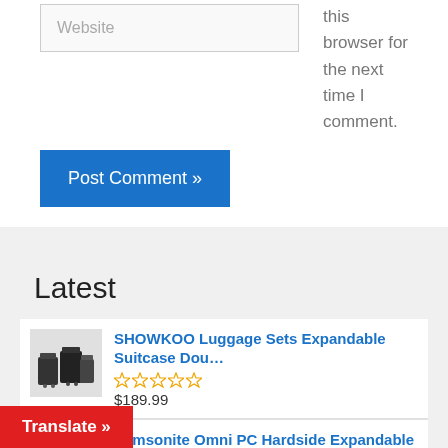Website
this browser for the next time I comment.
Post Comment »
Latest
SHOWKOO Luggage Sets Expandable Suitcase Dou… $189.99
Samsonite Omni PC Hardside Expandable Luggage… $167.99
d Fashion Softside Upright Luggage Set, Ch
Translate »